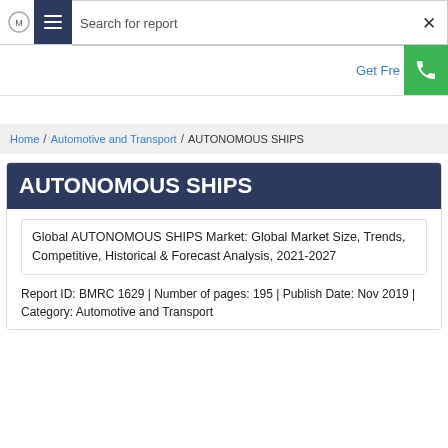Search for report
Get Free
Home / Automotive and Transport / AUTONOMOUS SHIPS
AUTONOMOUS SHIPS
Global AUTONOMOUS SHIPS Market: Global Market Size, Trends, Competitive, Historical & Forecast Analysis, 2021-2027
Report ID: BMRC 1629 | Number of pages: 195 | Publish Date: Nov 2019 | Category: Automotive and Transport